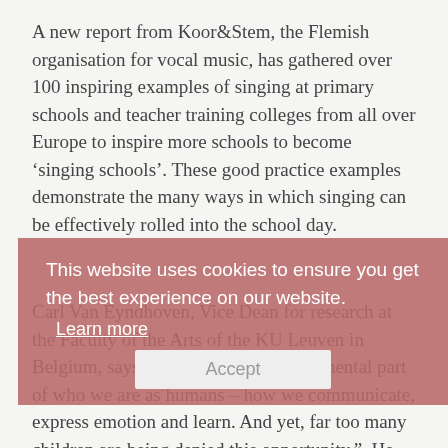A new report from Koor&Stem, the Flemish organisation for vocal music, has gathered over 100 inspiring examples of singing at primary schools and teacher training colleges from all over Europe to inspire more schools to become 'singing schools'. These good practice examples demonstrate the many ways in which singing can be effectively rolled into the school day.
[Figure (other): Cookie consent overlay with reddish-pink background. Text reads: 'This website uses cookies to ensure you get the best experience on our website.' with a 'Learn more' link and an 'Accept' button.]
Carl Van Eyndhoven, Vice Dean for research at the Faculty of the Arts of the KU Leuven in Belgium, says that "singing is a fundamental part of who we are as humans – how we communicate, express emotion and learn. And yet, far too many children are being denied this opportunity.". He claims the report's case studies "are